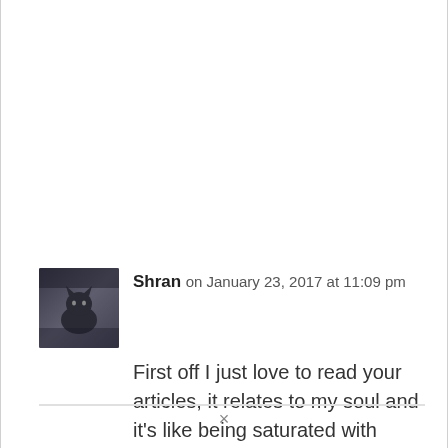Shran on January 23, 2017 at 11:09 pm
First off I just love to read your articles, it relates to my soul and it's like being saturated with water when you've been dry for so long. I like to paint, do mixed